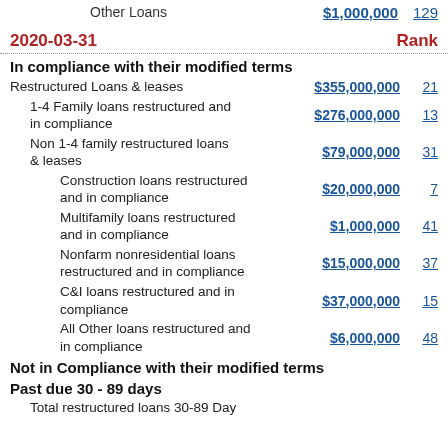Other Loans  $1,000,000  129
2020-03-31  Rank
In compliance with their modified terms
Restructured Loans & leases  $355,000,000  21
1-4 Family loans restructured and in compliance  $276,000,000  13
Non 1-4 family restructured loans & leases  $79,000,000  31
Construction loans restructured and in compliance  $20,000,000  7
Multifamily loans restructured and in compliance  $1,000,000  41
Nonfarm nonresidential loans restructured and in compliance  $15,000,000  37
C&I loans restructured and in compliance  $37,000,000  15
All Other loans restructured and in compliance  $6,000,000  48
Not in Compliance with their modified terms
Past due 30 - 89 days
Total restructured loans 30-89 Day